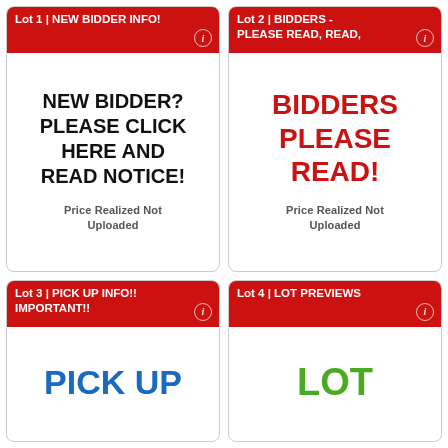Lot 1 | NEW BIDDER INFO!
NEW BIDDER? PLEASE CLICK HERE AND READ NOTICE!
Price Realized Not Uploaded
Lot 2 | BIDDERS - PLEASE READ, READ,
BIDDERS PLEASE READ!
Price Realized Not Uploaded
Lot 3 | PICK UP INFO!! IMPORTANT!!
PICK UP
Lot 4 | LOT PREVIEWS
LOT